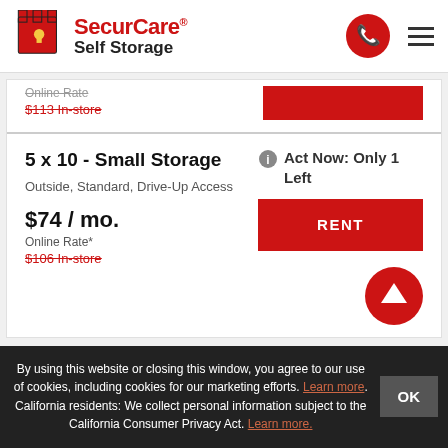[Figure (logo): SecurCare Self Storage logo with red castle/chess rook icon on the left and red phone circle and hamburger menu on the right]
$113 In-store (strikethrough)
5 x 10 - Small Storage
Outside, Standard, Drive-Up Access
$74 / mo.
Online Rate*
$106 In-store (strikethrough)
Act Now: Only 1 Left
RENT
By using this website or closing this window, you agree to our use of cookies, including cookies for our marketing efforts. Learn more. California residents: We collect personal information subject to the California Consumer Privacy Act. Learn more.